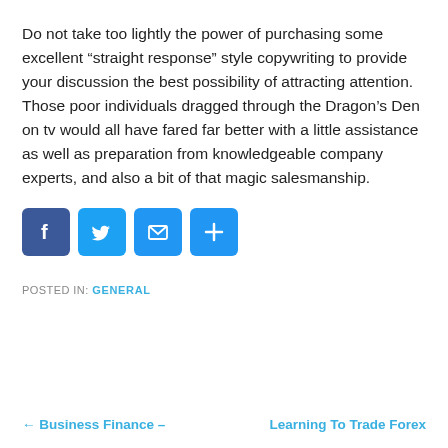Do not take too lightly the power of purchasing some excellent “straight response” style copywriting to provide your discussion the best possibility of attracting attention. Those poor individuals dragged through the Dragon’s Den on tv would all have fared far better with a little assistance as well as preparation from knowledgeable company experts, and also a bit of that magic salesmanship.
[Figure (infographic): Social sharing icons row: Facebook (blue), Twitter (blue), Email/envelope (blue), Share/plus (blue)]
POSTED IN: GENERAL
← Business Finance –
Learning To Trade Forex